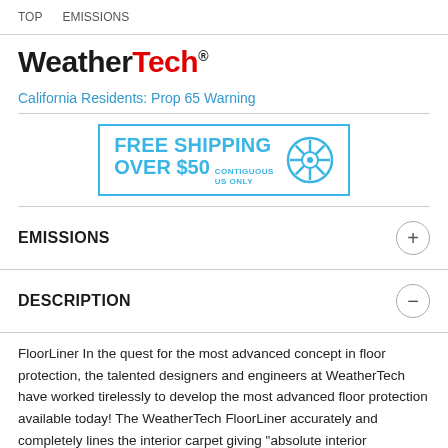TOP   EMISSIONS
[Figure (logo): WeatherTech logo with black bold text 'Weather' and red bold text 'Tech' followed by registered trademark symbol]
California Residents: Prop 65 Warning
[Figure (infographic): Banner advertisement: FREE SHIPPING OVER $50 CONTIGUOUS US ONLY with a blue wheel/tire icon, blue border box]
EMISSIONS
DESCRIPTION
FloorLiner In the quest for the most advanced concept in floor protection, the talented designers and engineers at WeatherTech have worked tirelessly to develop the most advanced floor protection available today! The WeatherTech FloorLiner accurately and completely lines the interior carpet giving "absolute interior